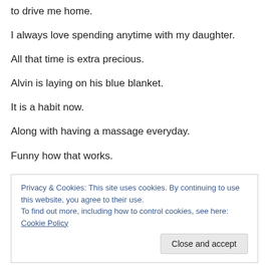to drive me home.
I always love spending anytime with my daughter.
All that time is extra precious.
Alvin is laying on his blue blanket.
It is a habit now.
Along with having a massage everyday.
Funny how that works.
Privacy & Cookies: This site uses cookies. By continuing to use this website, you agree to their use. To find out more, including how to control cookies, see here: Cookie Policy